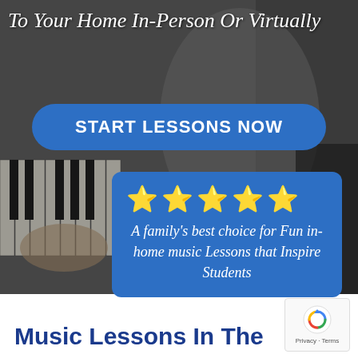To Your Home In-Person Or Virtually
START LESSONS NOW
[Figure (infographic): Blue rounded rectangle card with 5 gold stars and italic white text: A family's best choice for Fun in-home music Lessons that Inspire Students]
A family's best choice for Fun in-home music Lessons that Inspire Students
Music Lessons In The
[Figure (logo): Google reCAPTCHA badge with circular arrow logo and Privacy · Terms text]